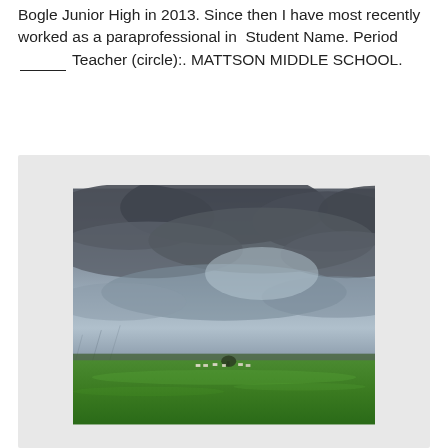Bogle Junior High in 2013. Since then I have most recently worked as a paraprofessional in  Student Name. Period ______ Teacher (circle):. MATTSON MIDDLE SCHOOL.
[Figure (photo): A wide-angle landscape photograph showing a flat green grassy plain under a dramatic stormy sky with dark grey clouds. A small group of cattle or animals is visible in the distance near the horizon line.]